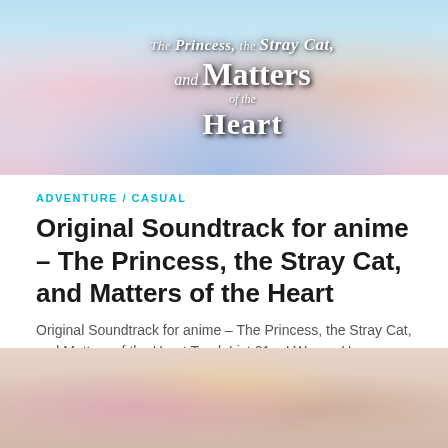[Figure (illustration): Anime-style promotional banner for 'The Princess, the Stray Cat, and Matters of the Heart' visual novel/game, showing multiple anime girl characters with the game title overlaid in decorative text]
ADVENTURE / CASUAL
Original Soundtrack for anime – The Princess, the Stray Cat, and Matters of the Heart
Original Soundtrack for anime – The Princess, the Stray Cat, and Matters of the Heart Track List 01 – I Wanna Have a Chat02 – I Wanna Jump03 – I Wanna Whistle04 – My...
[Figure (illustration): Anime-style illustration showing three cat-girl characters with animal ears, partially cropped at bottom of page]